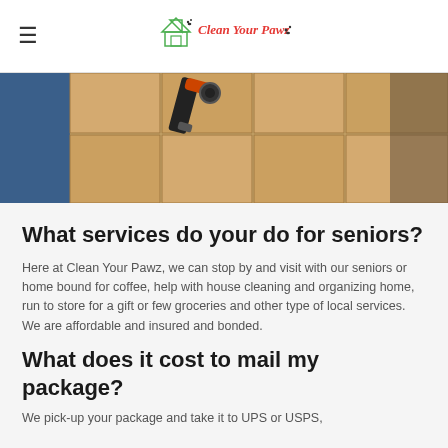Clean Your Pawz
[Figure (photo): Person using a tape gun to seal cardboard shipping boxes stacked on a surface, blue clothing visible on left side.]
What services do your do for seniors?
Here at Clean Your Pawz, we can stop by and visit with our seniors or home bound for coffee, help with house cleaning and organizing home, run to store for a gift or few groceries and other type of local services. We are affordable and insured and bonded.
What does it cost to mail my package?
We pick-up your package and take it to UPS or USPS,